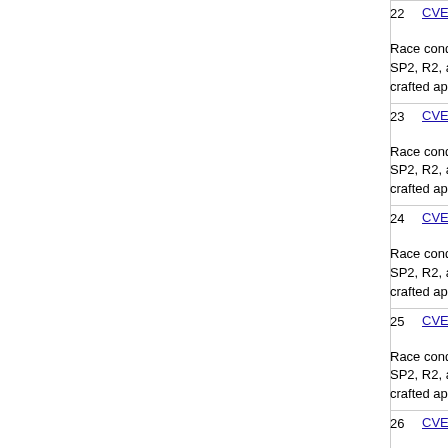| # | CVE | Type | +Priv | Date |
| --- | --- | --- | --- | --- |
| 22 | CVE-2013-1264  362 | +Priv | 2…
1… | Race condition in win32k.sys in the kernel-mode drivers SP2, R2, and R2 SP1, and Windows 7 Gold and SP1 all crafted application, a different vulnerability than other CV |
| 23 | CVE-2013-1263  362 | +Priv | 2…
1… | Race condition in win32k.sys in the kernel-mode drivers SP2, R2, and R2 SP1, and Windows 7 Gold and SP1 all crafted application, a different vulnerability than other CV |
| 24 | CVE-2013-1262  362 | +Priv | 2…
1… | Race condition in win32k.sys in the kernel-mode drivers SP2, R2, and R2 SP1, and Windows 7 Gold and SP1 all crafted application, a different vulnerability than other CV |
| 25 | CVE-2013-1261  362 | +Priv | 2…
1… | Race condition in win32k.sys in the kernel-mode drivers SP2, R2, and R2 SP1, and Windows 7 Gold and SP1 all crafted application, a different vulnerability than other CV |
| 26 | CVE-2013-1260  362 | +Priv | 2…
1… | Race condition in win32k.sys in the kernel-mode drivers SP2, R2, and R2 SP1, and Windows 7 Gold and SP1 all |